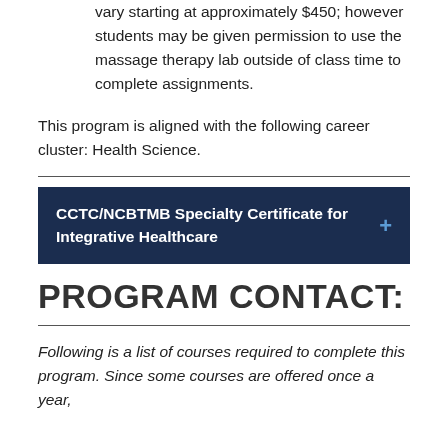vary starting at approximately $450; however students may be given permission to use the massage therapy lab outside of class time to complete assignments.
This program is aligned with the following career cluster: Health Science.
CCTC/NCBTMB Specialty Certificate for Integrative Healthcare
PROGRAM CONTACT:
Following is a list of courses required to complete this program. Since some courses are offered once a year,